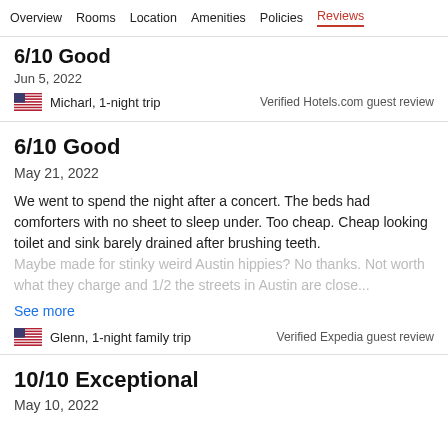Overview  Rooms  Location  Amenities  Policies  Reviews
6/10 Good
Jun 5, 2022
Micharl, 1-night trip    Verified Hotels.com guest review
6/10 Good
May 21, 2022
We went to spend the night after a concert. The beds had comforters with no sheet to sleep under. Too cheap. Cheap looking toilet and sink barely drained after brushing teeth. Maybe made for stinky weird Austin hippies? No thanks. Not worth what they charge and 1/2 the streets in Austin are close...
See more
Glenn, 1-night family trip    Verified Expedia guest review
10/10 Exceptional
May 10, 2022